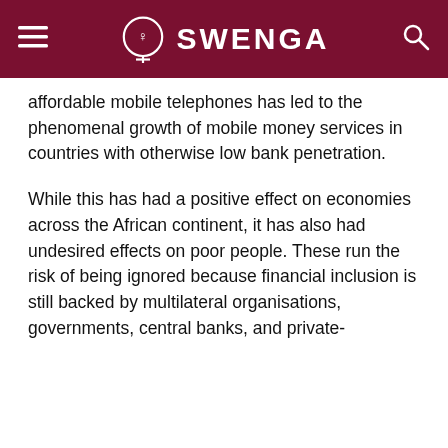SWENGA
affordable mobile telephones has led to the phenomenal growth of mobile money services in countries with otherwise low bank penetration.
While this has had a positive effect on economies across the African continent, it has also had undesired effects on poor people. These run the risk of being ignored because financial inclusion is still backed by multilateral organisations, governments, central banks, and private-